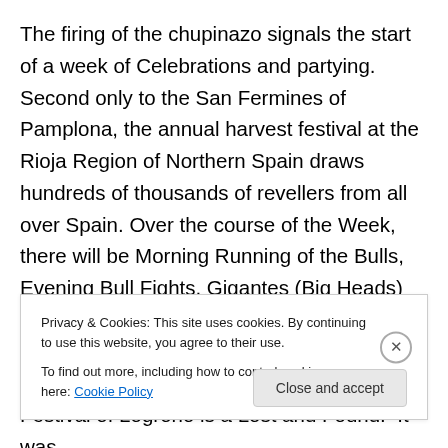The firing of the chupinazo signals the start of a week of Celebrations and partying. Second only to the San Fermines of Pamplona, the annual harvest festival at the Rioja Region of Northern Spain draws hundreds of thousands of revellers from all over Spain. Over the course of the Week, there will be Morning Running of the Bulls, Evening Bull Fights, Gigantes (Big Heads) Parade, Traditional Grape Treading, Wine Splashing Battle and endless Wine Tastings.  To the writer, The San Mateo Wine Festival of Logrono is a Lost and Found.  It was many years ago after visiting relatives in Santander, I
Privacy & Cookies: This site uses cookies. By continuing to use this website, you agree to their use.
To find out more, including how to control cookies, see here: Cookie Policy